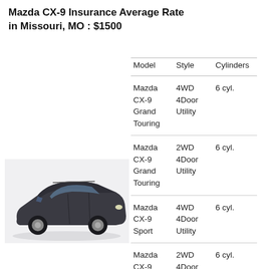Mazda CX-9 Insurance Average Rate in Missouri, MO : $1500
| Model | Style | Cylinders |
| --- | --- | --- |
| Mazda CX-9 Grand Touring | 4WD 4Door Utility | 6 cyl. |
| Mazda CX-9 Grand Touring | 2WD 4Door Utility | 6 cyl. |
| Mazda CX-9 Sport | 4WD 4Door Utility | 6 cyl. |
| Mazda CX-9 Sport | 2WD 4Door Utility | 6 cyl. |
[Figure (photo): Photo of a dark grey Mazda CX-9 SUV on a white background, viewed from the front-left angle.]